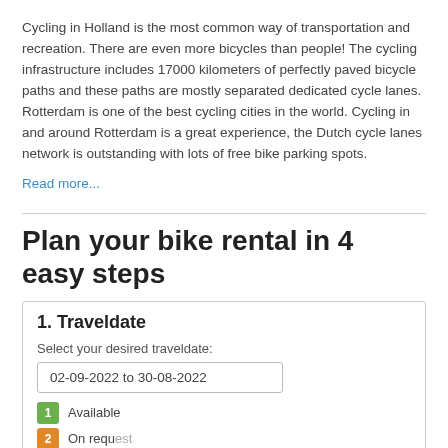Cycling in Holland is the most common way of transportation and recreation. There are even more bicycles than people! The cycling infrastructure includes 17000 kilometers of perfectly paved bicycle paths and these paths are mostly separated dedicated cycle lanes. Rotterdam is one of the best cycling cities in the world. Cycling in and around Rotterdam is a great experience, the Dutch cycle lanes network is outstanding with lots of free bike parking spots.
Read more...
Plan your bike rental in 4 easy steps
1. Traveldate
Select your desired traveldate:
02-09-2022 to 30-08-2022
1  Available
2  On request